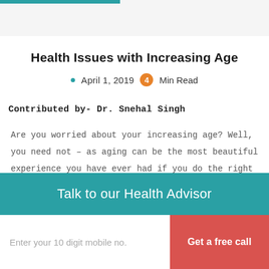Health Issues with Increasing Age
April 1, 2019  4 Min Read
Contributed by- Dr. Snehal Singh
Are you worried about your increasing age? Well, you need not – as aging can be the most beautiful experience you have ever had if you do the right thing to maintain
Talk to our Health Advisor
Enter your 10 digit mobile no.
Get a free call